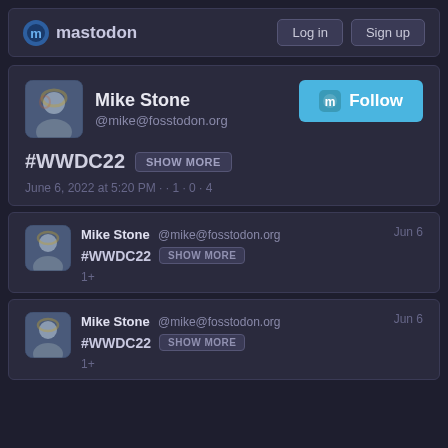mastodon | Log in | Sign up
Mike Stone @mike@fosstodon.org Follow
#WWDC22 SHOW MORE
June 6, 2022 at 5:20 PM · · 1 · 0 · 4
Mike Stone @mike@fosstodon.org Jun 6 #WWDC22 SHOW MORE 1+
Mike Stone @mike@fosstodon.org Jun 6 #WWDC22 SHOW MORE 1+